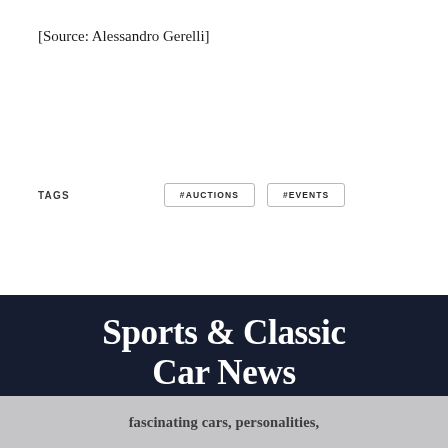[Source: Alessandro Gerelli]
TAGS  #AUCTIONS  #EVENTS
[Figure (other): Dark navy banner with bold serif white text reading 'Sports & Classic Car News' and subtitle 'Free coverage of Classic Car Auctions, Concours, Vintage Racing, Rallies, and other events, in addition to profiles of fascinating cars, personalities,']